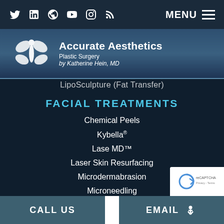Twitter LinkedIn Google YouTube Instagram RSS | MENU
[Figure (logo): Accurate Aesthetics Plastic Surgery by Katherine Hein, MD logo with stylized butterfly/flower mark]
LipoSculpture (Fat Transfer)
FACIAL TREATMENTS
Chemical Peels
Kybella®
Lase MD™
Laser Skin Resurfacing
Microdermabrasion
Microneedling
RF Microneedling
Rosacea
Synergistic Skin Care
INJECTABLES
BOTOX® Cosmetic
CALL US | EMAIL